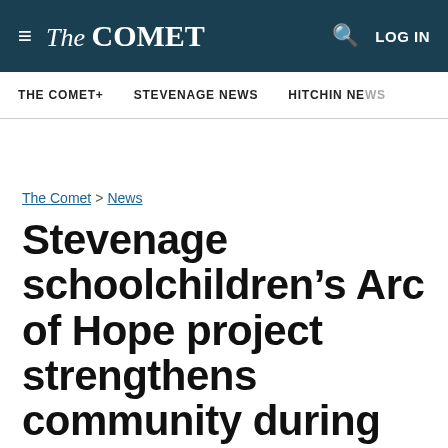The Comet — LOG IN
THE COMET+ | STEVENAGE NEWS | HITCHIN NE...
The Comet > News
Stevenage schoolchildren’s Arc of Hope project strengthens community during coronavirus crisis